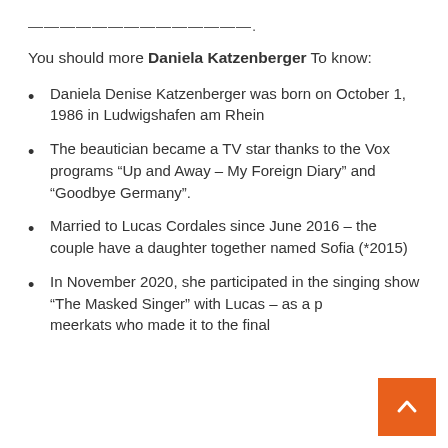——————————————.
You should more Daniela Katzenberger To know:
Daniela Denise Katzenberger was born on October 1, 1986 in Ludwigshafen am Rhein
The beautician became a TV star thanks to the Vox programs “Up and Away – My Foreign Diary” and “Goodbye Germany”.
Married to Lucas Cordales since June 2016 – the couple have a daughter together named Sofia (*2015)
In November 2020, she participated in the singing show “The Masked Singer” with Lucas – as a pair of meerkats who made it to the final